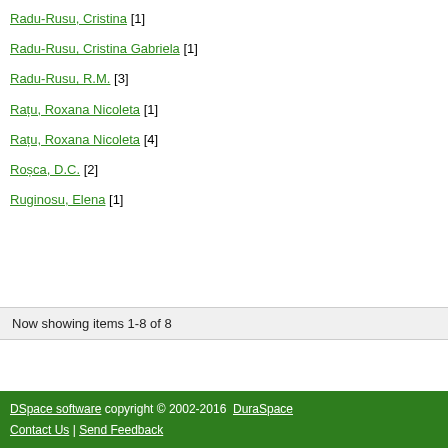Radu-Rusu, Cristina [1]
Radu-Rusu, Cristina Gabriela [1]
Radu-Rusu, R.M. [3]
Rațu, Roxana Nicoleta [1]
Rațu, Roxana Nicoleta [4]
Roșca, D.C. [2]
Ruginosu, Elena [1]
Now showing items 1-8 of 8
DSpace software copyright © 2002-2016  DuraSpace Contact Us | Send Feedback